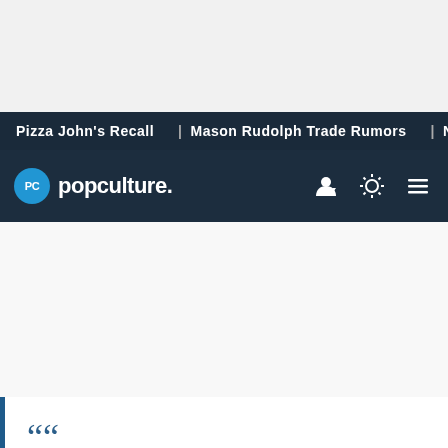Pizza John's Recall | Mason Rudolph Trade Rumors | Nikki A
[Figure (logo): Popculture.com navigation bar with PC logo, site name 'popculture.' and icons for user account, theme toggle, and menu]
““Speechless. Absolutely speechless right now. #WWERaw pic.twitter.com/TAcYKwlRO